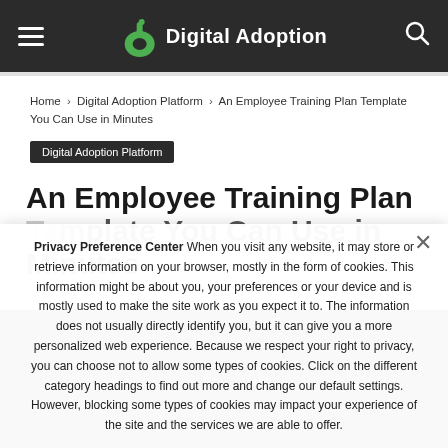Digital Adoption — hamburger menu, logo, search icon
Home › Digital Adoption Platform › An Employee Training Plan Template You Can Use in Minutes
Digital Adoption Platform
An Employee Training Plan Template You Can Use in Minutes
Privacy Preference Center When you visit any website, it may store or retrieve information on your browser, mostly in the form of cookies. This information might be about you, your preferences or your device and is mostly used to make the site work as you expect it to. The information does not usually directly identify you, but it can give you a more personalized web experience. Because we respect your right to privacy, you can choose not to allow some types of cookies. Click on the different category headings to find out more and change our default settings. However, blocking some types of cookies may impact your experience of the site and the services we are able to offer.
Ok   Privacy policy